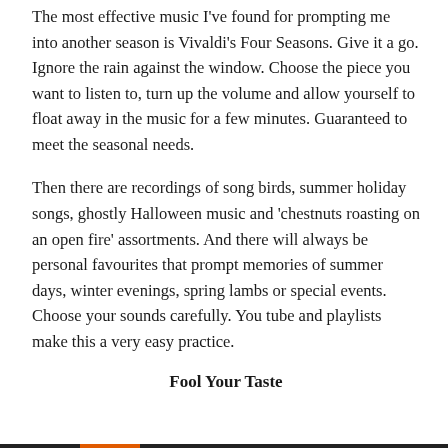The most effective music I've found for prompting me into another season is Vivaldi's Four Seasons. Give it a go. Ignore the rain against the window. Choose the piece you want to listen to, turn up the volume and allow yourself to float away in the music for a few minutes. Guaranteed to meet the seasonal needs.
Then there are recordings of song birds, summer holiday songs, ghostly Halloween music and 'chestnuts roasting on an open fire' assortments. And there will always be personal favourites that prompt memories of summer days, winter evenings, spring lambs or special events. Choose your sounds carefully. You tube and playlists make this a very easy practice.
Fool Your Taste